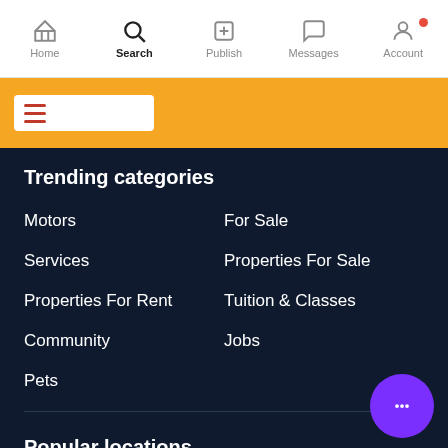Home | Search | Publish | Messages | Account
[Figure (screenshot): Orange banner with hamburger/search input box]
Trending categories
Motors
For Sale
Services
Properties For Sale
Properties For Rent
Tuition & Classes
Community
Jobs
Pets
Popular locations
Maharashtra
Delhi
Tamil Nadu
Uttar Pradesh